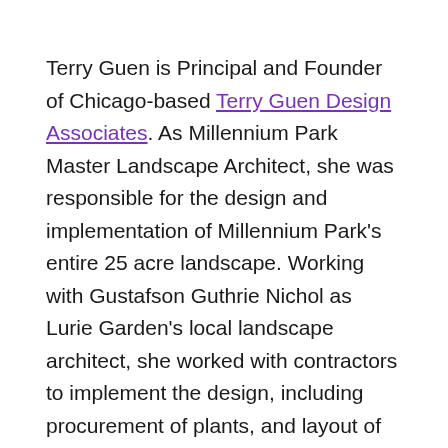Terry Guen is Principal and Founder of Chicago-based Terry Guen Design Associates. As Millennium Park Master Landscape Architect, she was responsible for the design and implementation of Millennium Park's entire 25 acre landscape. Working with Gustafson Guthrie Nichol as Lurie Garden's local landscape architect, she worked with contractors to implement the design, including procurement of plants, and layout of Piet Oudolf's perennial plant display.
Terry is a Fellow of the American Society of Landscape Architects. While her thirty year career spans complex ecological planning, design, and construction of public